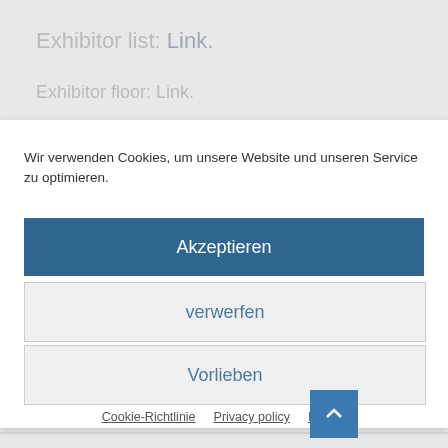Exhibitor list: Link.
Exhibitor floor: Link.
Wir verwenden Cookies, um unsere Website und unseren Service zu optimieren.
Akzeptieren
verwerfen
Vorlieben
Cookie-Richtlinie   Privacy policy   Imprint